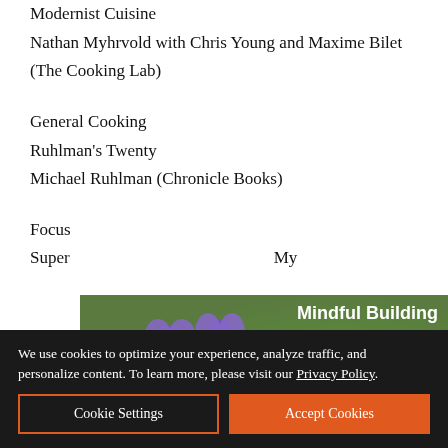Modernist Cuisine
Nathan Myhrvold with Chris Young and Maxime Bilet (The Cooking Lab)
General Cooking
Ruhlman's Twenty
Michael Ruhlman (Chronicle Books)
Focus
Super ... My
[Figure (advertisement): Earthtone Construction advertisement with purple flowers and butterfly. Text reads: Mindful Building, Earthtone CONSTRUCTION, Learn more >, UC.744848]
We use cookies to optimize your experience, analyze traffic, and personalize content. To learn more, please visit our Privacy Policy.
Cookie Settings | Accept Cookies